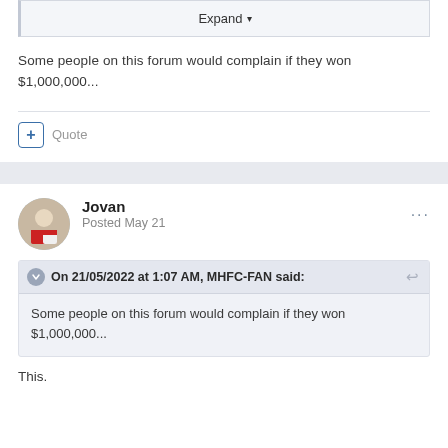[Figure (screenshot): Expand button with dropdown arrow in a collapsed quoted post area]
Some people on this forum would complain if they won $1,000,000...
[Figure (infographic): Plus button and Quote label for quoting a post]
Jovan
Posted May 21
On 21/05/2022 at 1:07 AM, MHFC-FAN said:
Some people on this forum would complain if they won $1,000,000...
This.